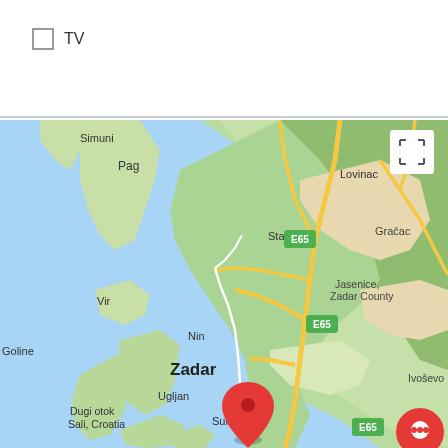TV
[Figure (map): Google Maps view of the Zadar County coastal region in Croatia, showing towns including Simuni, Pag, Lovinac, Vir, Nin, Starigrad, Gracac, Goline, Zadar, Jasenice Zadar County, Sukosan, Ivoševc, Dugi otok Sali Croatia, Biograd na Moru, Nacionalni park Kornati, Murter, Skradin, Vodice, Sibenik. E65 highway marked. Red location pin on Biograd na Moru.]